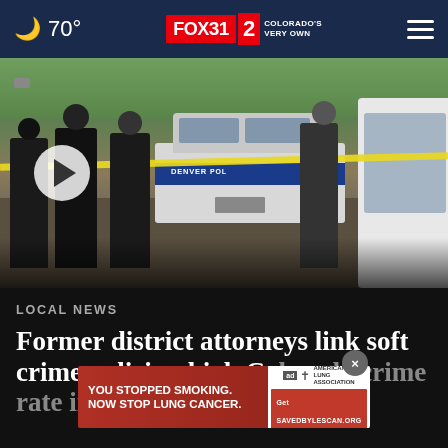70° FOX31 2 COLORADO'S VERY OWN
[Figure (photo): Police officers in dark uniforms at a crime scene with yellow tape and Denver Police vehicles in the background. A video play button overlay is visible on the left side.]
LOCAL NEWS
Former district attorneys link soft crime policies, high Colorado crime rate in new report
[Figure (infographic): Advertisement overlay: 'YOU STOPPED SMOKING. NOW STOP LUNG CANCER.' with American Lung Association logo and SAVEDBYLESCAN.ORG URL. A close (X) button appears above the ad.]